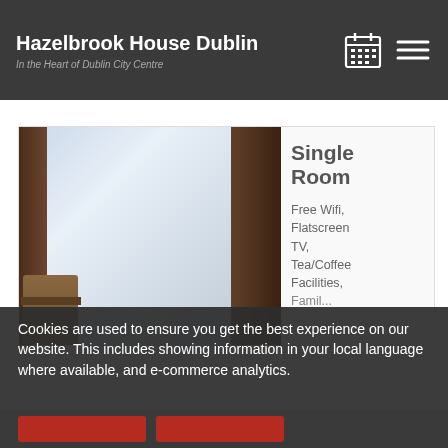Hazelbrook House Dublin — In the Heart of Dublin City Centre
[Figure (photo): Photo of a single room interior showing brown curtains, window with natural light, and a chair]
Single Room
Free Wifi, Flatscreen TV, Tea/Coffee Facilities, Family...
Cookies are used to ensure you get the best experience on our website. This includes showing information in your local language where available, and e-commerce analytics.